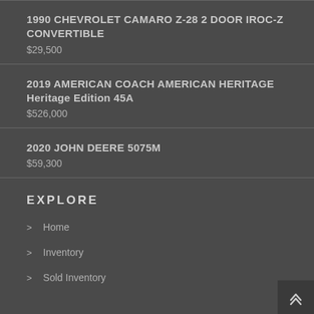1990 CHEVROLET CAMARO Z-28 2 DOOR IROC-Z CONVERTIBLE
$29,500
2019 AMERICAN COACH AMERICAN HERITAGE Heritage Edition 45A
$526,000
2020 JOHN DEERE 5075M
$59,300
EXPLORE
> Home
> Inventory
> Sold Inventory